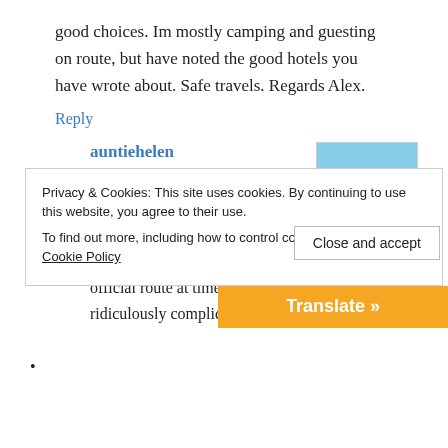good choices. Im mostly camping and guesting on route, but have noted the good hotels you have wrote about. Safe travels. Regards Alex.
Reply
auntiehelen
Friday 4 May 2012 at 5:35 pm
[Figure (photo): Small avatar photo showing a white vehicle with red and blue stripes against a blue sky]
Hi Alex, I definitely think it’s worth ignoring the official route at times as it sometimes seems ridiculously complicated. I think they try to avoid
Privacy & Cookies: This site uses cookies. By continuing to use this website, you agree to their use.
To find out more, including how to control cookies, see here: Cookie Policy
Close and accept
Translate »
Esterbauer Verlag book all the time to